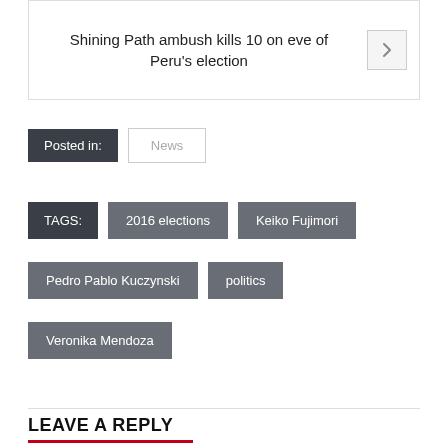Shining Path ambush kills 10 on eve of Peru's election
Posted in:
News
TAGS:
2016 elections
Keiko Fujimori
Pedro Pablo Kuczynski
politics
Veronika Mendoza
LEAVE A REPLY
Your Name
Your Email